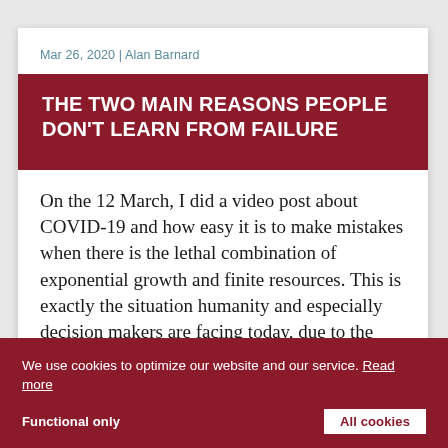Mar 26, 2020 | Alan Barnard
THE TWO MAIN REASONS PEOPLE DON'T LEARN FROM FAILURE
On the 12 March, I did a video post about COVID-19 and how easy it is to make mistakes when there is the lethal combination of exponential growth and finite resources. This is exactly the situation humanity and especially decision makers are facing today, due to the pandemic that is adding a serious constraints
We use cookies to optimize our website and our service. Read more
Functional only
All cookies